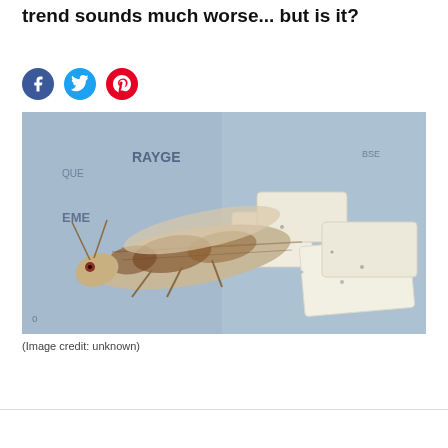Fed up with kale? This new healthy eating trend sounds much worse... but is it?
[Figure (photo): Close-up photo of a locust/grasshopper insect next to white chocolate or cheese pieces on a decorative paper background]
(Image credit: unknown)